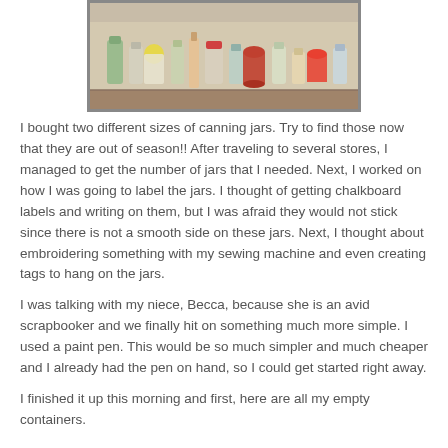[Figure (photo): Photo of canning jars and bottles/containers spread out on a countertop surface, viewed from above.]
I bought two different sizes of canning jars.  Try to find those now that they are out of season!!  After traveling to several stores, I managed to get the number of jars that I needed.  Next, I worked on how I was going to label the jars.  I thought of getting chalkboard labels and writing on them, but I was afraid they would not stick since there is not a smooth side on these jars.  Next, I thought about embroidering something with my sewing machine and even creating tags to hang on the jars.
I was talking with my niece, Becca, because she is an avid scrapbooker and we finally hit on something much more simple.  I used a paint pen.  This would be so much simpler and much cheaper and I already had the pen on hand, so I could get started right away.
I finished it up this morning and first, here are all my empty containers.